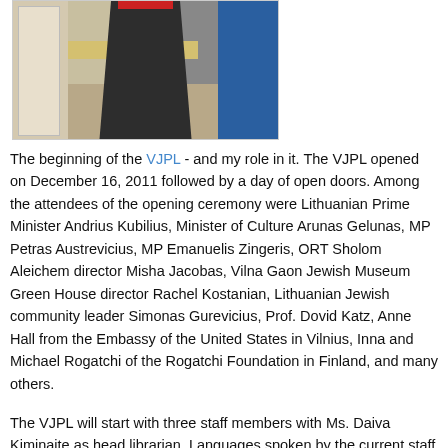[Figure (photo): A person standing in a doorway/hallway area with a tan wall, blue wall, and yellow ledge visible.]
The beginning of the VJPL - and my role in it. The VJPL opened on December 16, 2011 followed by a day of open doors. Among the attendees of the opening ceremony were Lithuanian Prime Minister Andrius Kubilius, Minister of Culture Arunas Gelunas, MP Petras Austrevicius, MP Emanuelis Zingeris, ORT Sholom Aleichem director Misha Jacobas, Vilna Gaon Jewish Museum Green House director Rachel Kostanian, Lithuanian Jewish community leader Simonas Gurevicius, Prof. Dovid Katz, Anne Hall from the Embassy of the United States in Vilnius, Inna and Michael Rogatchi of the Rogatchi Foundation in Finland, and many others.
The VJPL will start with three staff members with Ms. Daiva Kiminaite as head librarian. Languages spoken by the current staff members...